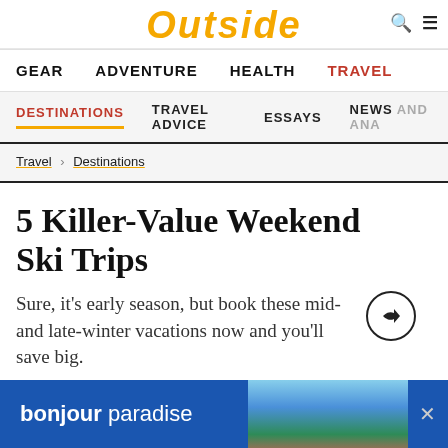Outside
GEAR  ADVENTURE  HEALTH  TRAVEL
DESTINATIONS  TRAVEL ADVICE  ESSAYS  NEWS AND ANA...
Travel > Destinations
5 Killer-Value Weekend Ski Trips
Sure, it's early season, but book these mid- and late-winter vacations now and you'll save big.
bonjour paradise